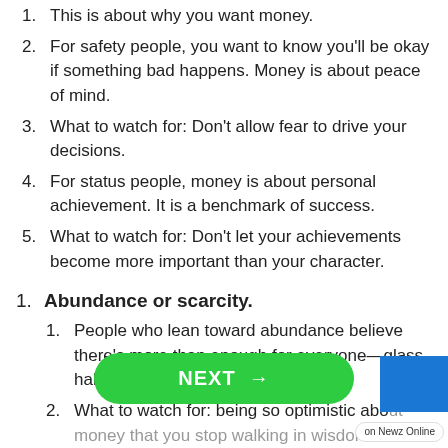1. This is about why you want money.
2. For safety people, you want to know you'll be okay if something bad happens. Money is about peace of mind.
3. What to watch for: Don't allow fear to drive your decisions.
4. For status people, money is about personal achievement. It is a benchmark of success.
5. What to watch for: Don't let your achievements become more important than your character.
1. Abundance or scarcity.
1. People who lean toward abundance believe there's more than enough for everyone—glass half full mentality.
2. What to watch for: being so optimistic about money that you stop walking in wisdom. Pra... nd talk th...